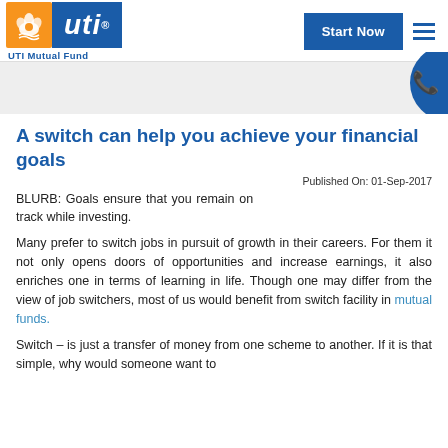UTI Mutual Fund | Start Now
A switch can help you achieve your financial goals
Published On: 01-Sep-2017
BLURB: Goals ensure that you remain on track while investing.
Many prefer to switch jobs in pursuit of growth in their careers. For them it not only opens doors of opportunities and increase earnings, it also enriches one in terms of learning in life. Though one may differ from the view of job switchers, most of us would benefit from switch facility in mutual funds.
Switch – is just a transfer of money from one scheme to another. If it is that simple, why would someone want to